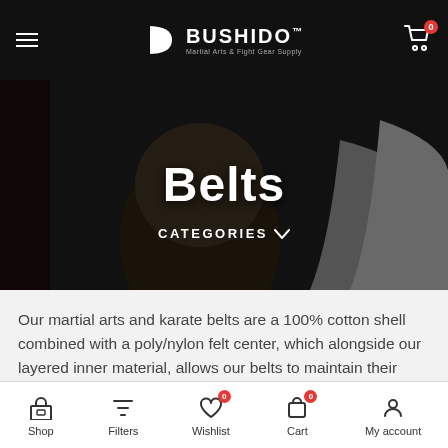BUSHIDO – Martial Arts & Fight Gear Supply
Belts
CATEGORIES
Our martial arts and karate belts are a 100% cotton shell combined with a poly/nylon felt center, which alongside our layered inner material, allows our belts to maintain their shape, strength, longevity and lateral strength. Our belts and kung fu sashes are made with colour fast dye to prevent the colour from running and straining.
We carry high quality taekwondo belts, BJJ belts and karate belts in a wide range of colours to suit your needs, including...
Shop | Filters | Wishlist | Cart | My account